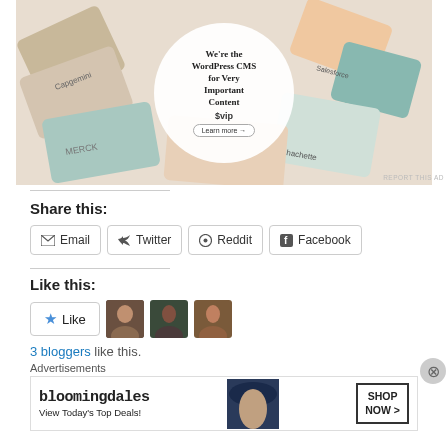[Figure (screenshot): WordPress VIP advertisement banner showing colorful cards with company logos (Capgemini, Merck, Hachette, Salesforce) arranged in a circle with a white circular overlay containing 'We're the WordPress CMS for Very Important Content' text, WP VIP logo, and 'Learn more' button]
REPORT THIS AD
Share this:
Email
Twitter
Reddit
Facebook
Like this:
Like
3 bloggers like this.
Advertisements
[Figure (screenshot): Bloomingdales advertisement banner showing logo, 'View Today's Top Deals!' text, a woman in a large hat, and a 'SHOP NOW >' button]